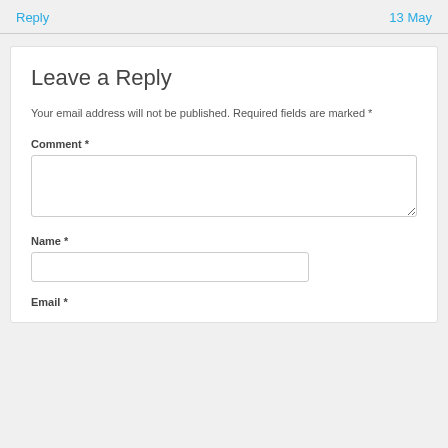Reply | 13 May
Leave a Reply
Your email address will not be published. Required fields are marked *
Comment *
Name *
Email *